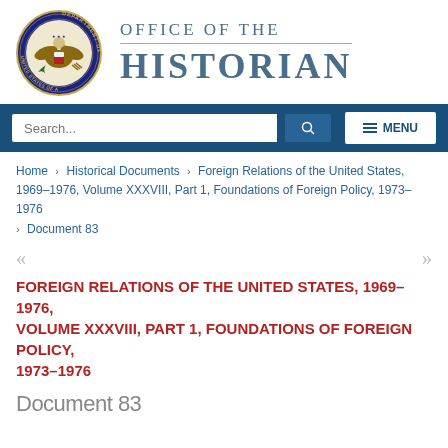[Figure (logo): US Department of State seal and Office of the Historian header logo]
[Figure (screenshot): Navigation bar with search input and menu button]
Home › Historical Documents › Foreign Relations of the United States, 1969–1976, Volume XXXVIII, Part 1, Foundations of Foreign Policy, 1973–1976 › Document 83
FOREIGN RELATIONS OF THE UNITED STATES, 1969–1976, VOLUME XXXVIII, PART 1, FOUNDATIONS OF FOREIGN POLICY, 1973–1976